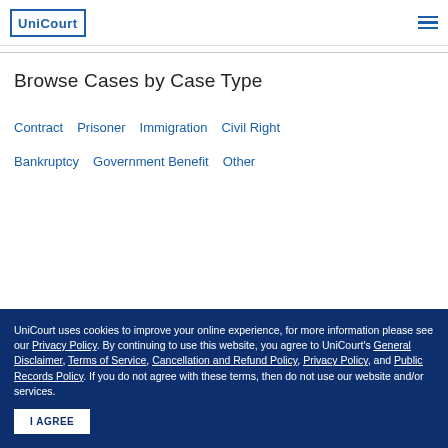UniCourt
Browse Cases by Case Type
Contract
Prisoner
Immigration
Civil Right
Bankruptcy
Government Benefit
Other
UniCourt uses cookies to improve your online experience, for more information please see our Privacy Policy. By continuing to use this website, you agree to UniCourt's General Disclaimer, Terms of Service, Cancellation and Refund Policy, Privacy Policy, and Public Records Policy. If you do not agree with these terms, then do not use our website and/or services.